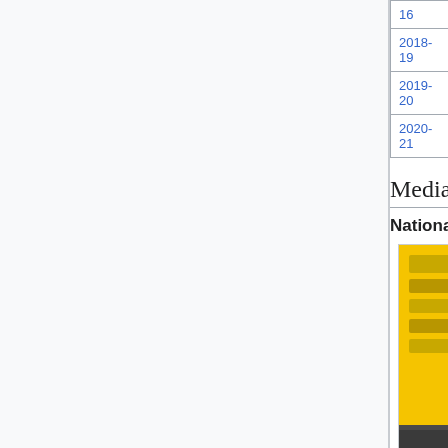| Season | Wins | Champion | Runner-up |
| --- | --- | --- | --- |
| 2018-19 | 27 | Newick | Syd... |
| 2019-20 | 26 | Rahu | Noa... Wot... |
| 2020-21 | 26 | Súdwâl Wottested | Ifra... |
Media coverage
National coverage
[Figure (photo): Hockey player wearing yellow jersey number 49 being interviewed with a microphone at a press backdrop with sponsor logos]